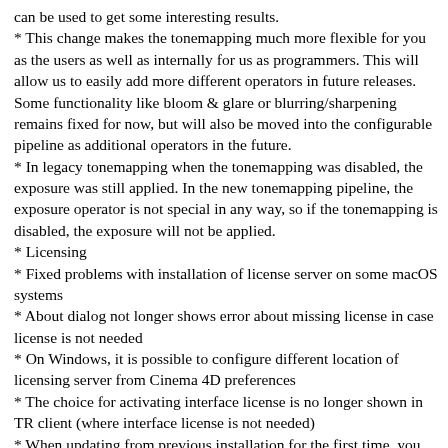can be used to get some interesting results.
* This change makes the tonemapping much more flexible for you as the users as well as internally for us as programmers. This will allow us to easily add more different operators in future releases. Some functionality like bloom & glare or blurring/sharpening remains fixed for now, but will also be moved into the configurable pipeline as additional operators in the future.
* In legacy tonemapping when the tonemapping was disabled, the exposure was still applied. In the new tonemapping pipeline, the exposure operator is not special in any way, so if the tonemapping is disabled, the exposure will not be applied.
* Licensing
* Fixed problems with installation of license server on some macOS systems
* About dialog not longer shows error about missing license in case license is not needed
* On Windows, it is possible to configure different location of licensing server from Cinema 4D preferences
* The choice for activating interface license is no longer shown in TR client (where interface license is not needed)
* When updating from previous installation for the first time, you will be asked to review your choices in installer - make sure to install Licensing server unless you plan to have it running on different system.
* Chaos Cosmos